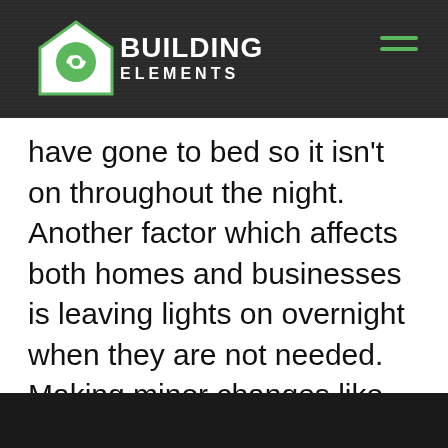BUILDING ELEMENTS
have gone to bed so it isn't on throughout the night. Another factor which affects both homes and businesses is leaving lights on overnight when they are not needed. Making minor changes like these may not seem like a lot, but over time it makes a significant difference.